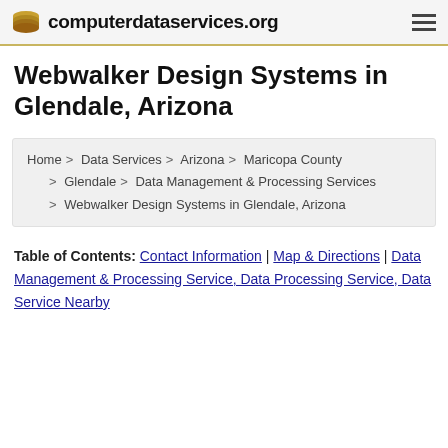computerdataservices.org
Webwalker Design Systems in Glendale, Arizona
Home > Data Services > Arizona > Maricopa County > Glendale > Data Management & Processing Services > Webwalker Design Systems in Glendale, Arizona
Table of Contents: Contact Information | Map & Directions | Data Management & Processing Service, Data Processing Service, Data Service Nearby